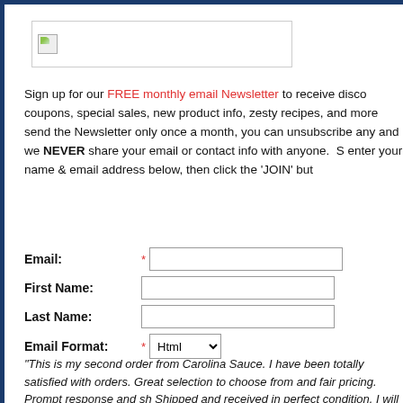[Figure (logo): Company logo image (broken/placeholder) inside a bordered box]
Sign up for our FREE monthly email Newsletter to receive disco coupons, special sales, new product info, zesty recipes, and more send the Newsletter only once a month, you can unsubscribe any and we NEVER share your email or contact info with anyone.  S enter your name & email address below, then click the 'JOIN' but
Email: [input] First Name: [input] Last Name: [input] Email Format: * Html [dropdown]
"This is my second order from Carolina Sauce. I have been totally satisfied with orders. Great selection to choose from and fair pricing. Prompt response and sh Shipped and received in perfect condition. I will do business with this company